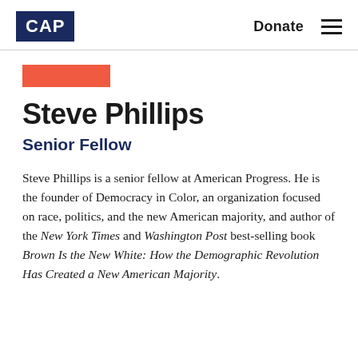CAP  Donate ☰
[Figure (other): Orange/coral colored decorative rectangle bar]
Steve Phillips
Senior Fellow
Steve Phillips is a senior fellow at American Progress. He is the founder of Democracy in Color, an organization focused on race, politics, and the new American majority, and author of the New York Times and Washington Post best-selling book Brown Is the New White: How the Demographic Revolution Has Created a New American Majority.